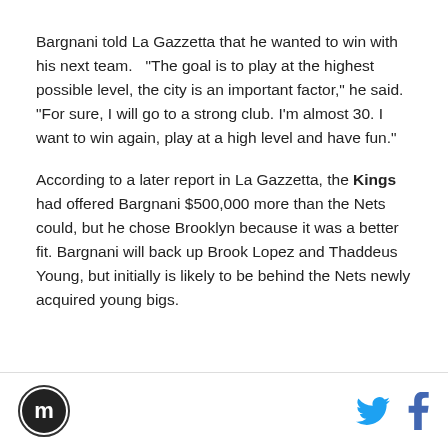Bargnani told La Gazzetta that he wanted to win with his next team.   "The goal is to play at the highest possible level, the city is an important factor," he said. "For sure, I will go to a strong club. I'm almost 30. I want to win again, play at a high level and have fun."
According to a later report in La Gazzetta, the Kings had offered Bargnani $500,000 more than the Nets could, but he chose Brooklyn because it was a better fit. Bargnani will back up Brook Lopez and Thaddeus Young, but initially is likely to be behind the Nets newly acquired young bigs.
[logo] [twitter] [facebook]